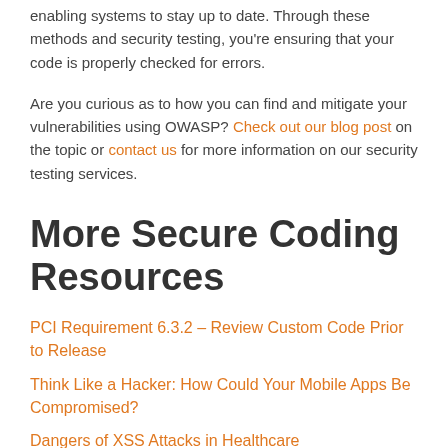enabling systems to stay up to date. Through these methods and security testing, you're ensuring that your code is properly checked for errors.
Are you curious as to how you can find and mitigate your vulnerabilities using OWASP? Check out our blog post on the topic or contact us for more information on our security testing services.
More Secure Coding Resources
PCI Requirement 6.3.2 – Review Custom Code Prior to Release
Think Like a Hacker: How Could Your Mobile Apps Be Compromised?
Dangers of XSS Attacks in Healthcare
Tags: Code Review, coding, OWASP, secure code, Secure Coding